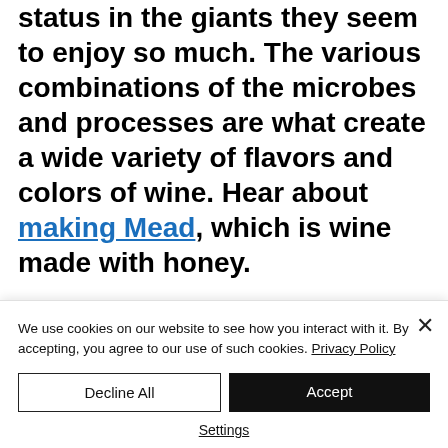status in the giants they seem to enjoy so much. The various combinations of the microbes and processes are what create a wide variety of flavors and colors of wine. Hear about making Mead, which is wine made with honey.

So how do microbes make wine? Well, yeasts such as Saccharomyces cerevisiae feed on the sugars of crushed grape...
We use cookies on our website to see how you interact with it. By accepting, you agree to our use of such cookies. Privacy Policy
Decline All
Accept
Settings